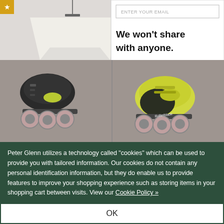[Figure (screenshot): Screenshot of an e-commerce website showing inline/roller skates product page with a popup modal overlay]
ENTER YOUR EMAIL
We won't share with anyone.
Peter Glenn utilizes a technology called "cookies" which can be used to provide you with tailored information. Our cookies do not contain any personal identification information, but they do enable us to provide features to improve your shopping experience such as storing items in your shopping cart between visits. View our Cookie Policy »
OK